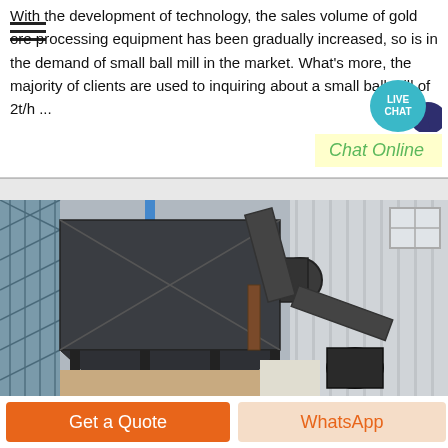With the development of technology, the sales volume of gold ore processing equipment has been gradually increased, so is in the demand of small ball mill in the market. What's more, the majority of clients are used to inquiring about a small ball mill of 2t/h ...
[Figure (photo): Industrial dust collector or ball mill processing equipment installation, showing a large dark metal hopper/collector structure with pipes and supports, mounted on a steel frame, with corrugated metal building walls in background.]
Get a Quote
WhatsApp